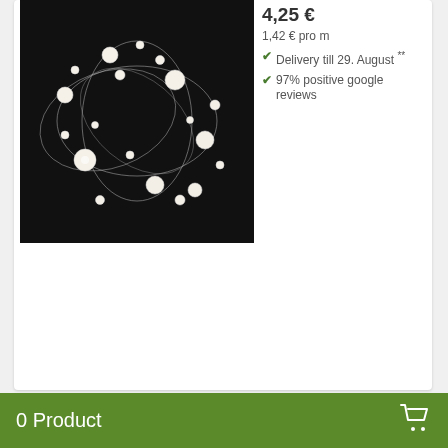[Figure (photo): Pearl chain garland arranged in circular loops on a black background]
4,25 €
1,42 € pro m
✔ Delivery till 29. August **
✔ 97% positive google reviews
[Figure (photo): Pearl branch with white pearl beads on wire stems, white background]
Pearl branch white L18cm 2pcs
3,45 €
1,73 € pro piece
✔ Delivery till 29. August **
★★★★★
0 Product